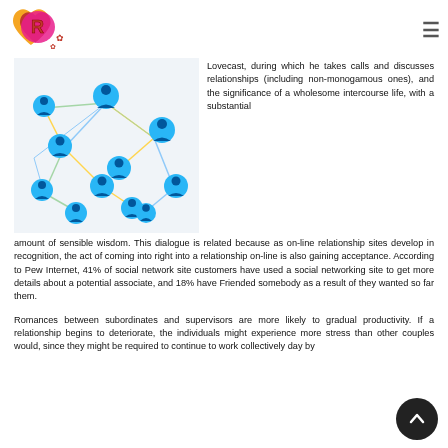[Figure (logo): Heart-shaped logo with letter R in pink/red on orange background with red flowers]
[Figure (illustration): Social network diagram with blue person icons connected by colored lines on white background]
Lovecast, during which he takes calls and discusses relationships (including non-monogamous ones), and the significance of a wholesome intercourse life, with a substantial amount of sensible wisdom. This dialogue is related because as on-line relationship sites develop in recognition, the act of coming into right into a relationship on-line is also gaining acceptance. According to Pew Internet, 41% of social network site customers have used a social networking site to get more details about a potential associate, and 18% have Friended somebody as a result of they wanted so far them.
Romances between subordinates and supervisors are more likely to gradual productivity. If a relationship begins to deteriorate, the individuals might experience more stress than other couples would, since they might be required to continue to work collectively day by